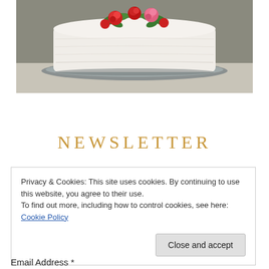[Figure (photo): A white frosted round cake decorated with red and pink roses and green leaves on top, sitting on a glass plate on a light surface.]
NEWSLETTER
Privacy & Cookies: This site uses cookies. By continuing to use this website, you agree to their use.
To find out more, including how to control cookies, see here: Cookie Policy
Close and accept
Email Address *